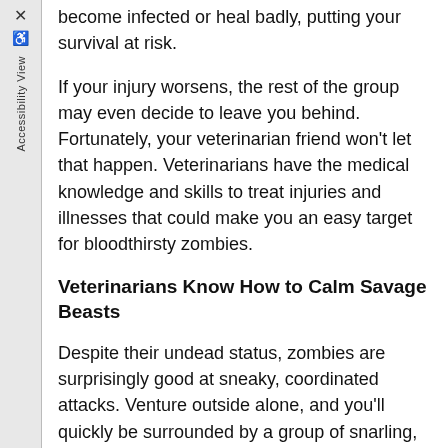become infected or heal badly, putting your survival at risk.
If your injury worsens, the rest of the group may even decide to leave you behind. Fortunately, your veterinarian friend won't let that happen. Veterinarians have the medical knowledge and skills to treat injuries and illnesses that could make you an easy target for bloodthirsty zombies.
Veterinarians Know How to Calm Savage Beasts
Despite their undead status, zombies are surprisingly good at sneaky, coordinated attacks. Venture outside alone, and you'll quickly be surrounded by a group of snarling, decomposing creatures intent on making you their next snack.
Vets receive training that helps them calm and control scared or aggressive animals. Thanks to their experiences working with many types of animals, veterinarians aren't going to be intimidated by a few scary zombies. In fact, your